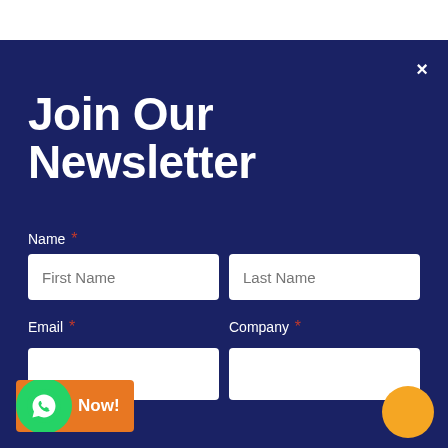Join Our Newsletter
Name *
First Name
Last Name
Email *
Company *
Now!